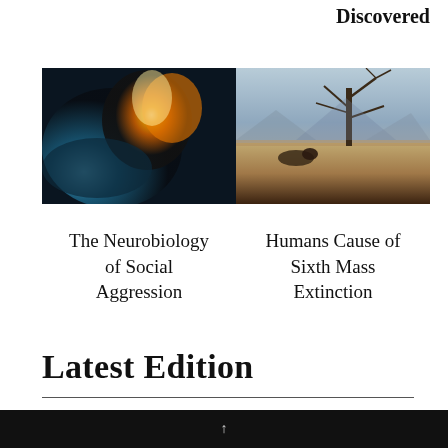Discovered
[Figure (photo): Left: dramatic image of fire and water/ice clashing in dark background. Right: arid desert landscape with a bare dead tree and a small animal on cracked dry ground.]
The Neurobiology of Social Aggression
Humans Cause of Sixth Mass Extinction
Latest Edition
↑